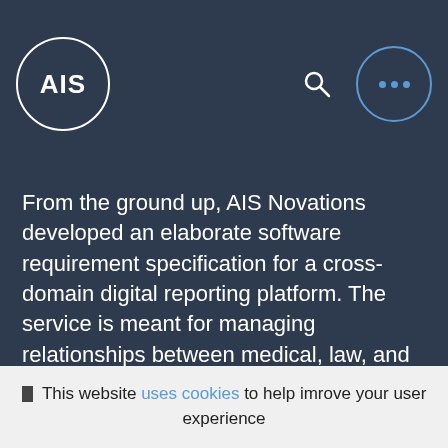AIS
From the ground up, AIS Novations developed an elaborate software requirement specification for a cross-domain digital reporting platform. The service is meant for managing relationships between medical, law, and insurance contractors through the uploaded reports and invoices.

The solution's potential users are law firms, insurance companies, and healthcare institutions
This website uses cookies to help imrove your user experience